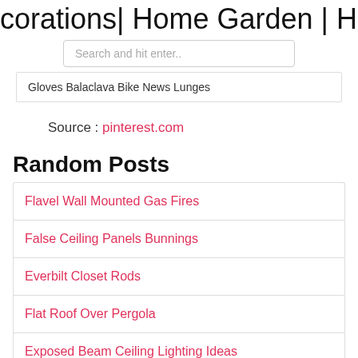corations| Home Garden | Home Far
Search and hit enter..
Gloves Balaclava Bike News Lunges
Source : pinterest.com
Random Posts
Flavel Wall Mounted Gas Fires
False Ceiling Panels Bunnings
Everbilt Closet Rods
Flat Roof Over Pergola
Exposed Beam Ceiling Lighting Ideas